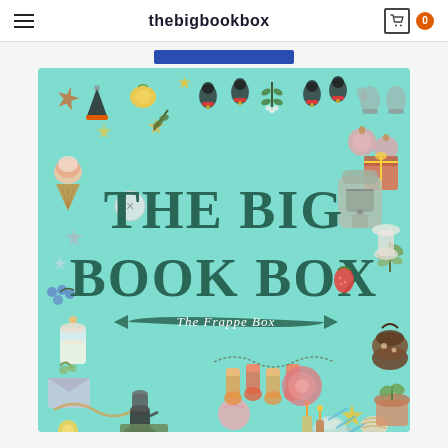thebigbookbox
[Figure (illustration): Colorful illustrated promotional image for 'The Big Book Box – The Frappe Box' on a mint/teal background, surrounded by hand-drawn sticker-style illustrations of holiday and cozy items: bells, stars, cookies, ornaments, ice cream, plants, gifts, backpack, cup of hot chocolate, coffee maker, books, stockings, sea shells, candles, flowers, ribbons, and other seasonal decorations. Large bold serif text in dark teal reads 'THE BIG BOOK BOX' with a banner below saying 'The Frappe Box'.]